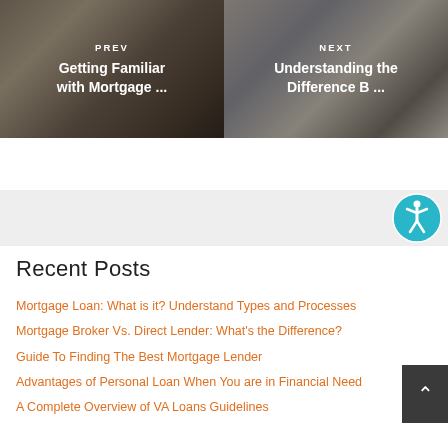[Figure (photo): PREV navigation card with photo of hands with mortgage documents, text overlay: PREV / Getting Familiar with Mortgage ...]
[Figure (photo): NEXT navigation card with photo of person using laptop/keyboard, text overlay: NEXT / Understanding the Difference B ...]
[Figure (other): Accessibility widget icon - teal circle with wheelchair/person symbol]
Recent Posts
Mortgage Loan: What is it? Understand Types and Processes
Mortgage Broker Vs. Direct Lender: What's the Difference?
Guide To Finding The Best Mortgage Lender
Advantages of Personal Loan When You are in Financial Need
A Complete Overview of VA Loans Guidelines